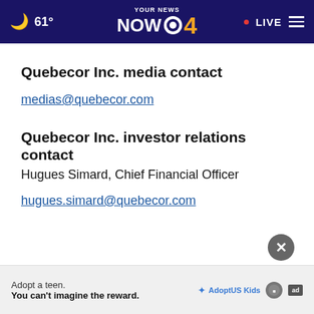[Figure (screenshot): Navigation bar for 'Your News Now 4' (CBS affiliate) with moon icon, 61° temperature, logo, red LIVE indicator, and hamburger menu on dark navy background]
Quebecor Inc. media contact
medias@quebecor.com
Quebecor Inc. investor relations contact
Hugues Simard, Chief Financial Officer
hugues.simard@quebecor.com
[Figure (screenshot): Advertisement banner: 'Adopt a teen. You can't imagine the reward.' with Adopt US Kids and HHS logos and ad badge. Close button (X) above the ad.]